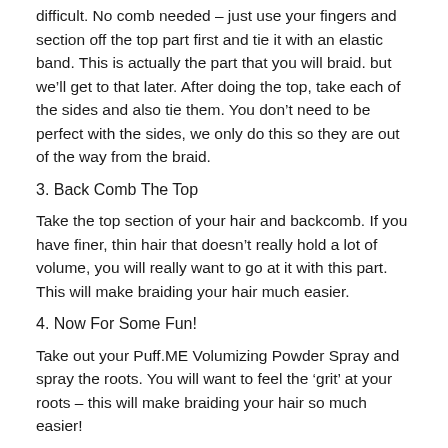difficult. No comb needed – just use your fingers and section off the top part first and tie it with an elastic band. This is actually the part that you will braid. but we'll get to that later. After doing the top, take each of the sides and also tie them. You don't need to be perfect with the sides, we only do this so they are out of the way from the braid.
3. Back Comb The Top
Take the top section of your hair and backcomb. If you have finer, thin hair that doesn't really hold a lot of volume, you will really want to go at it with this part. This will make braiding your hair much easier.
4. Now For Some Fun!
Take out your Puff.ME Volumizing Powder Spray and spray the roots. You will want to feel the 'grit' at your roots – this will make braiding your hair so much easier!